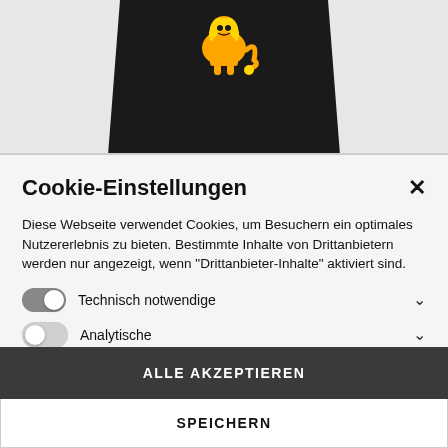[Figure (photo): Top portion of a webpage showing a black garment/shirt with a yellow lion graphic emblem, partially visible, with a wooden chair frame visible below it. The image is cropped at the bottom by a modal dialog.]
Cookie-Einstellungen
Diese Webseite verwendet Cookies, um Besuchern ein optimales Nutzererlebnis zu bieten. Bestimmte Inhalte von Drittanbietern werden nur angezeigt, wenn "Drittanbieter-Inhalte" aktiviert sind.
Technisch notwendige
Analytische
Drittanbieter-Inhalte
ALLE AKZEPTIEREN
SPEICHERN